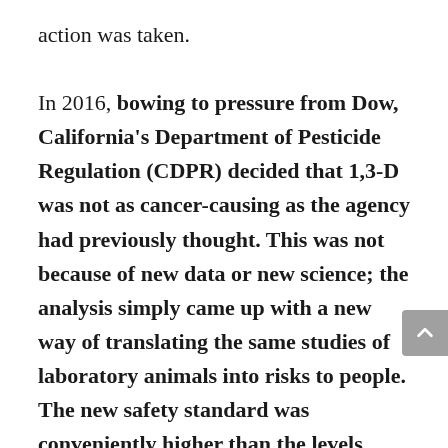action was taken.

In 2016, bowing to pressure from Dow, California's Department of Pesticide Regulation (CDPR) decided that 1,3-D was not as cancer-causing as the agency had previously thought. This was not because of new data or new science; the analysis simply came up with a new way of translating the same studies of laboratory animals into risks to people. The new safety standard was conveniently higher than the levels being measured around the state. Even worse, the state used this relaxed safety standard to allow the use of 50% more 1,3-D in any given area. Notably, the Office of Environmental Health Hazard Assessment (OEHHA), a state agency with considerably more expertise in assessing